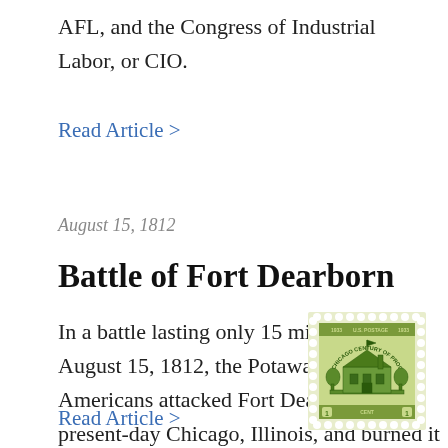AFL, and the Congress of Industrial Labor, or CIO.
Read Article >
August 15, 1812
Battle of Fort Dearborn
In a battle lasting only 15 minutes on August 15, 1812, the Potawatomi Native Americans attacked Fort Dearborn near present-day Chicago, Illinois, and burned it to the ground.
[Figure (illustration): A green U.S. postage stamp from 1933 showing Fort Dearborn with the text 'Chicago Century of Progress', valued at 1 cent.]
Read Article >